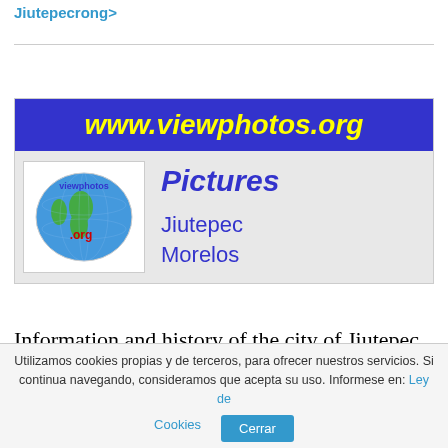Jiutepecrong>
[Figure (logo): www.viewphotos.org banner with blue background and yellow italic bold text. Below: light gray section with globe logo (viewphotos.org) on left and 'Pictures / Jiutepec / Morelos' text in blue on right.]
Information and history of the city of Jiutepec
Utilizamos cookies propias y de terceros, para ofrecer nuestros servicios. Si continua navegando, consideramos que acepta su uso. Informese en: Ley de Cookies  Cerrar